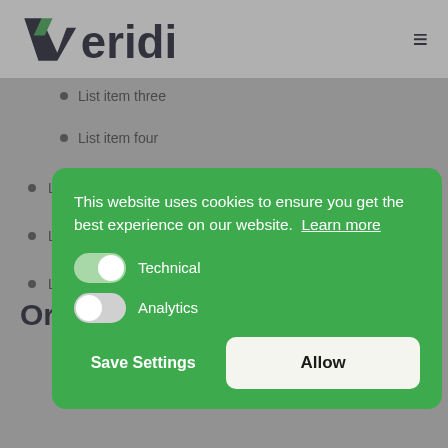[Figure (logo): Veridis company logo with stylized V in dark navy and green accent]
List item three
List item four
List item two
List item three
List item four
Orc…
This website uses cookies to ensure you get the best experience on our website. Learn more
Technical
Analytics
Save Settings   Allow